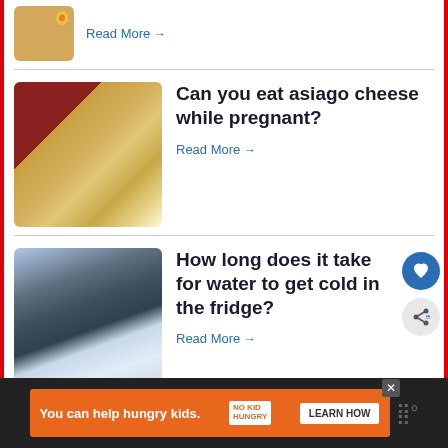Read More →
Can you eat asiago cheese while pregnant?
Read More →
How long does it take for water to get cold in the fridge?
Read More →
WHAT'S NEXT → Can you mix ammonia an...
You can help hungry kids. LEARN HOW